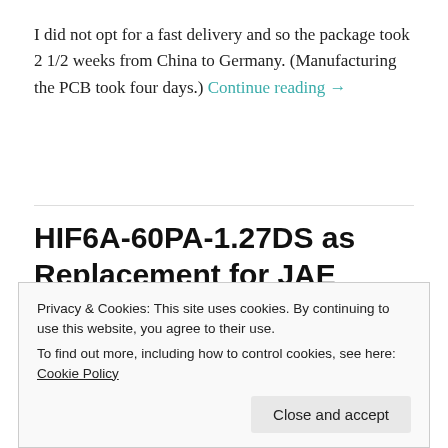I did not opt for a fast delivery and so the package took 2 1/2 weeks from China to Germany. (Manufacturing the PCB took four days.) Continue reading →
HIF6A-60PA-1.27DS as Replacement for JAE PICL-60P-LT Sharp-PC Connector
Privacy & Cookies: This site uses cookies. By continuing to use this website, you agree to their use.
To find out more, including how to control cookies, see here: Cookie Policy
Close and accept